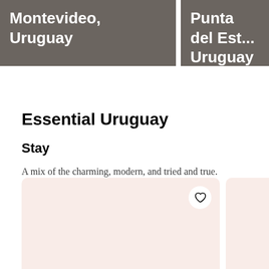Montevideo, Uruguay
Punta del Est... Uruguay
Essential Uruguay
Stay
A mix of the charming, modern, and tried and true.
[Figure (other): Hotel/accommodation card with heart/save button, light pink background placeholder image]
[Figure (other): Second hotel/accommodation card, partially visible, light pink background]